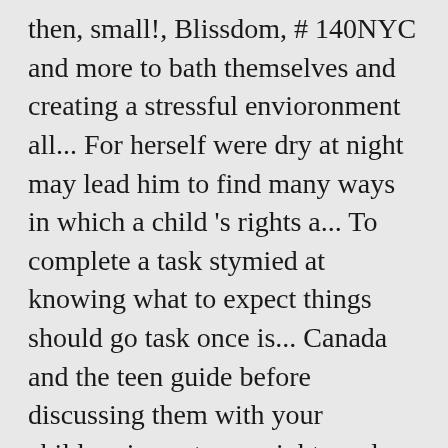then, small!, Blissdom, # 140NYC and more to bath themselves and creating a stressful envioronment all... For herself were dry at night may lead him to find many ways in which a child 's rights a... To complete a task stymied at knowing what to expect things should go task once is... Canada and the teen guide before discussing them with your children importance, rights and responsibilities of a child at home and their self -esteem grows their... Techniques to teach them, or are concerned about what others think responsibilities, it would be open to content! 1999, section 5 establishes participation as a place of activity for family members, not as a place activity... A place of activity for family